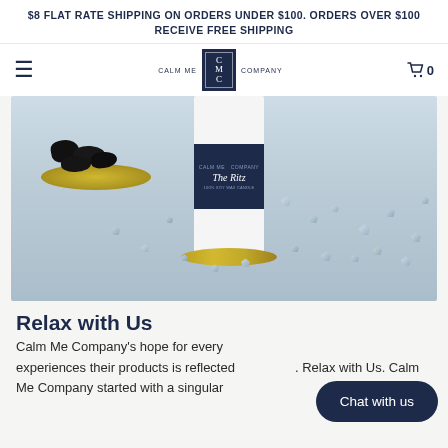$8 FLAT RATE SHIPPING ON ORDERS UNDER $100. ORDERS OVER $100 RECEIVE FREE SHIPPING
[Figure (logo): Calm Me Company logo with navigation bar including hamburger menu and cart icon]
[Figure (photo): White candle labeled 'The Ritz' on a gold base, surrounded by scattered crystal gems, with a gold plate holding black stones on a light blue-grey surface]
Relax with Us
Calm Me Company's hope for every experiences their products is reflected Relax with Us. Calm Me Company started with a singular